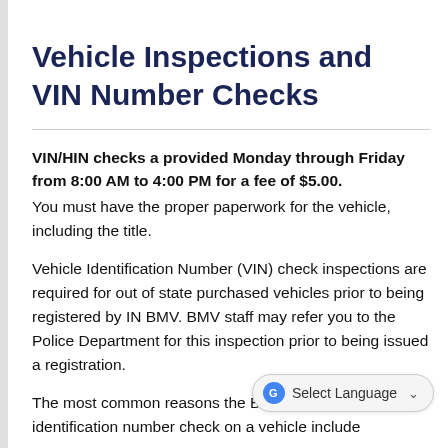Vehicle Inspections and VIN Number Checks
VIN/HIN checks a provided Monday through Friday from 8:00 AM to 4:00 PM for a fee of $5.00. You must have the proper paperwork for the vehicle, including the title.
Vehicle Identification Number (VIN) check inspections are required for out of state purchased vehicles prior to being registered by IN BMV. BMV staff may refer you to the Police Department for this inspection prior to being issued a registration.
The most common reasons the BMV requires a identification number check on a vehicle include...